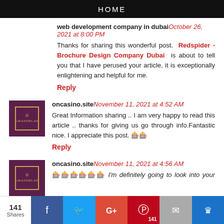HOME
web development company in dubai October 26, 2021 at 8:00 PM
Thanks for sharing this wonderful post. Redspider - Brochure Design Company Dubai is about to tell you that I have perused your article, it is exceptionally enlightening and helpful for me.
Reply
oncasino.site November 11, 2021 at 4:52 AM
Great Information sharing .. I am very happy to read this article .. thanks for giving us go through info.Fantastic nice. I appreciate this post. 🎰🎰
Reply
oncasino.site November 11, 2021 at 4:56 AM
🎰🎰🎰🎰🎰🎰 I'm definitely going to look into your other post
141 Shares  f  Twitter  G+  P 141  Mail  Crown